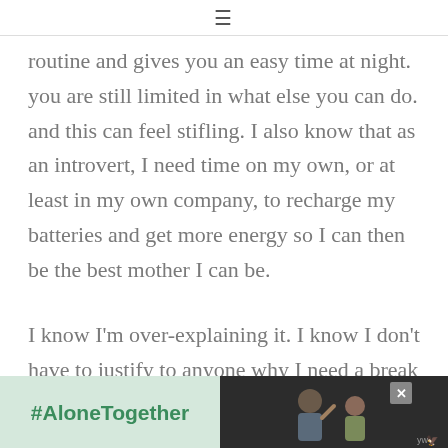≡
routine and gives you an easy time at night. you are still limited in what else you can do. and this can feel stifling. I also know that as an introvert, I need time on my own, or at least in my own company, to recharge my batteries and get more energy so I can then be the best mother I can be.
I know I'm over-explaining it. I know I don't have to justify to anyone why I need a break
[Figure (photo): Advertisement banner: left side has light green background with '#AloneTogether' hashtag in teal/green text; right side has dark background with a photo of a smiling man and child waving, with a close button (X) and a logo mark in the bottom right corner.]